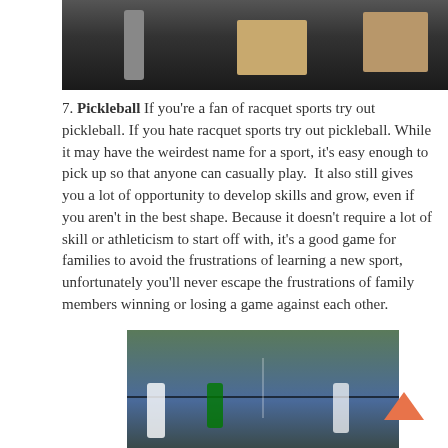[Figure (photo): Indoor gym scene with wooden boxes/equipment on a dark floor]
7. Pickleball If you're a fan of racquet sports try out pickleball. If you hate racquet sports try out pickleball. While it may have the weirdest name for a sport, it's easy enough to pick up so that anyone can casually play.  It also still gives you a lot of opportunity to develop skills and grow, even if you aren't in the best shape. Because it doesn't require a lot of skill or athleticism to start off with, it's a good game for families to avoid the frustrations of learning a new sport, unfortunately you'll never escape the frustrations of family members winning or losing a game against each other.
[Figure (photo): People playing pickleball on an outdoor court with a net]